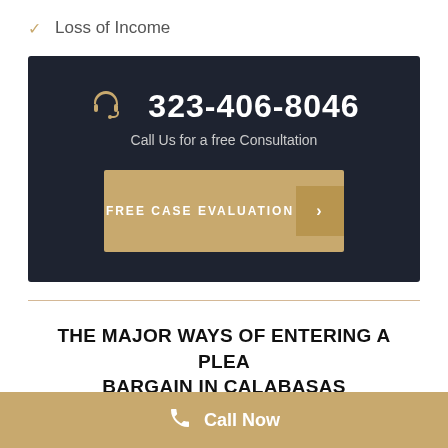Loss of Income
[Figure (infographic): Dark banner with headset icon, phone number 323-406-8046, 'Call Us for a free Consultation' text, and a gold 'FREE CASE EVALUATION' button with arrow]
THE MAJOR WAYS OF ENTERING A PLEA BARGAIN IN CALABASAS
Call Now